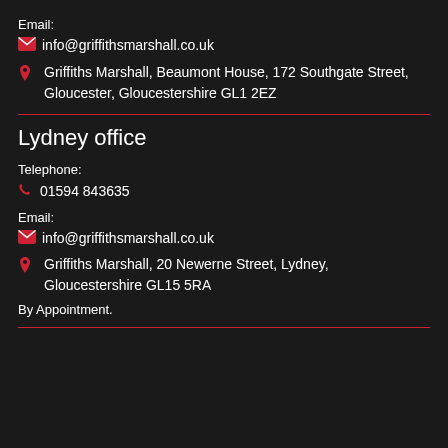Email:
✉ info@griffithsmarshall.co.uk
📍 Griffiths Marshall, Beaumont House, 172 Southgate Street, Gloucester, Gloucestershire GL1 2EZ
Lydney office
Telephone:
📞 01594 843635
Email:
✉ info@griffithsmarshall.co.uk
📍 Griffiths Marshall, 20 Newerne Street, Lydney, Gloucestershire GL15 5RA
By Appointment.